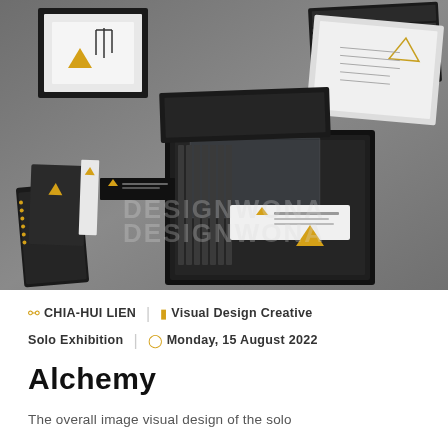[Figure (photo): Overhead flat-lay photograph of multiple dark/black product packaging boxes and notebooks with gold triangle logo accents, arranged on a gray surface. Items include open gift boxes revealing pencils and accessories, notebooks with spiral binding, and printed collateral with Japanese calligraphy and technical drawings.]
CHIA-HUI LIEN   Visual Design Creative Solo Exhibition   Monday, 15 August 2022
Alchemy
The overall image visual design of the solo